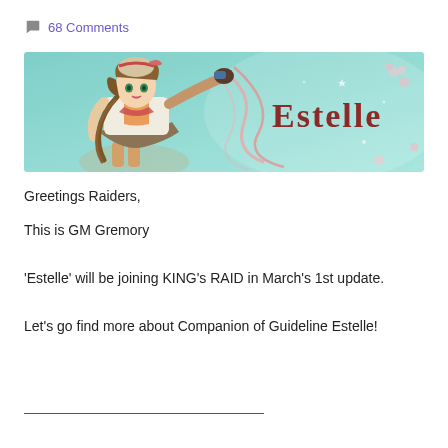💬 68 Comments
[Figure (illustration): Anime-style banner image of a female character named Estelle with brown braided hair, green eyes, white outfit, pointing finger, on a teal background with floral elements and the text 'Estelle' in large dark red letters on the right.]
Greetings Raiders,
This is GM Gremory
'Estelle' will be joining KING's RAID in March's 1st update.
Let's go find more about Companion of Guideline Estelle!